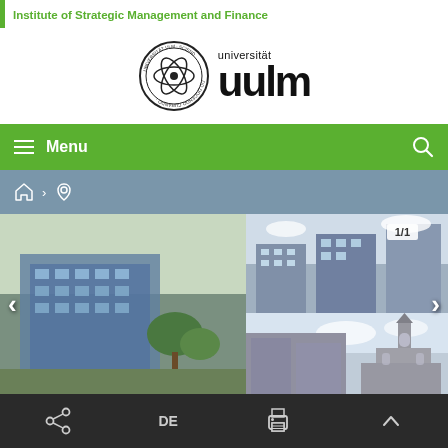Institute of Strategic Management and Finance
[Figure (logo): Universität Ulm seal/logo and text logo showing 'universität uulm']
[Figure (screenshot): Green navigation bar with hamburger menu icon and 'Menu' text, search icon on right]
[Figure (screenshot): Breadcrumb navigation bar in blue-grey with home icon and location pin icon]
[Figure (photo): Image slider showing university campus buildings and Ulm Minster cathedral, with 1/1 counter and navigation arrows]
OPEN POSITIONS at our Institute
DE (share, language, print, scroll-to-top icons)